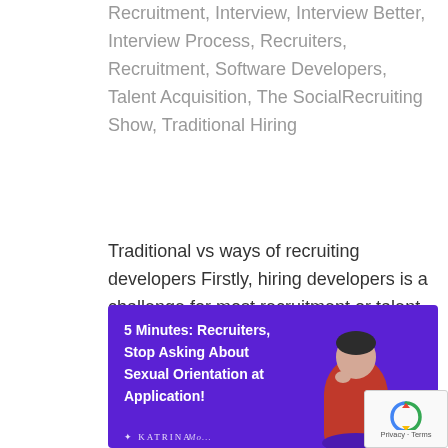Recruitment, Interview, Interview Better, Interview Process, Recruiters, Recruitment, Software Developers, Talent Acquisition, The SocialRecruiting Show, Traditional Hiring
Traditional vs ways of recruiting developers Firstly, hiring developers is a challenge for most recruitment or talent acquisition professionals at any time. Not to mention, with an estimated 5 job opportunities to 1 software developer in the UK. The odds are firmly in...
[Figure (illustration): Purple promotional banner reading '5 Minutes: Recruiters, Stop Asking About Sexual Orientation at Application!' with a woman in a red top on the right side and a logo at the bottom left]